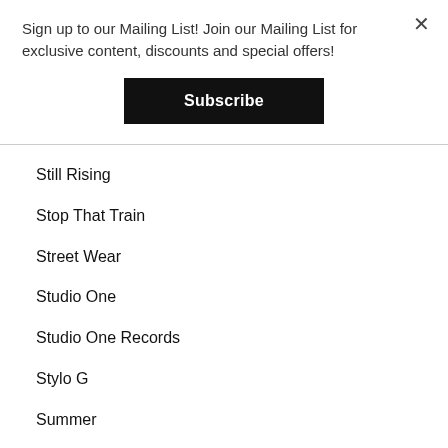Sign up to our Mailing List! Join our Mailing List for exclusive content, discounts and special offers!
Subscribe
Still Rising
Stop That Train
Street Wear
Studio One
Studio One Records
Stylo G
Summer
Sweetie
T-Shirt
Tachyon Records
Tenor Youthman
Terpenes